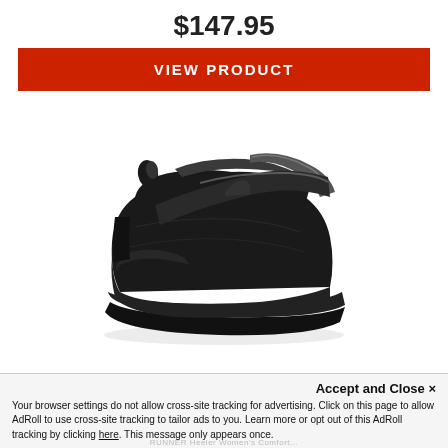$147.95
VIEW PRODUCT
[Figure (photo): A black orthopedic shoe with velcro strap closure, photographed against a white background. The shoe has a wide toe box, velcro fastening strap across the top, and a thick rubber sole.]
Accept and Close ×
Your browser settings do not allow cross-site tracking for advertising. Click on this page to allow AdRoll to use cross-site tracking to tailor ads to you. Learn more or opt out of this AdRoll tracking by clicking here. This message only appears once.
RUNNER Heeler Women's Comfort...